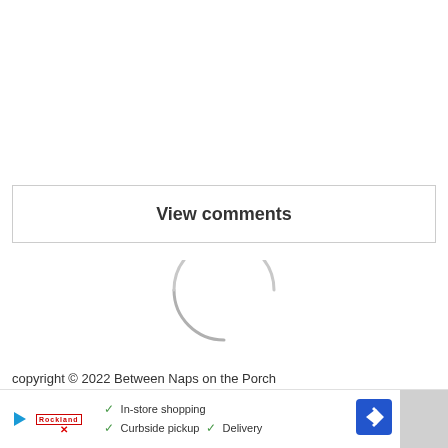View comments
[Figure (other): Loading spinner arc (partial circle outline)]
copyright © 2022 Between Naps on the Porch
[Figure (other): Advertisement banner with play button, Rockland logo, checkmarks for In-store shopping, Curbside pickup, Delivery, and navigation arrow icon]